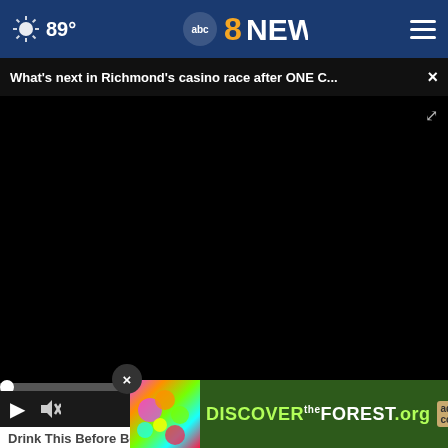89° abc8NEWS
What's next in Richmond's casino race after ONE C... ×
[Figure (screenshot): Black video player area showing paused/unloaded video with playback controls: play button, mute icon, timestamp 00:00, captions icon, fullscreen icon]
Drink This Before Bed and Drop Body Weight Like Crazy
Health
[Figure (screenshot): Advertisement banner for DISCOVERtheFOREST.org with colorful flowers on left, white text logo in center, Ad Council and US Forest Service logos on right. Close button (X) overlapping top-right of banner.]